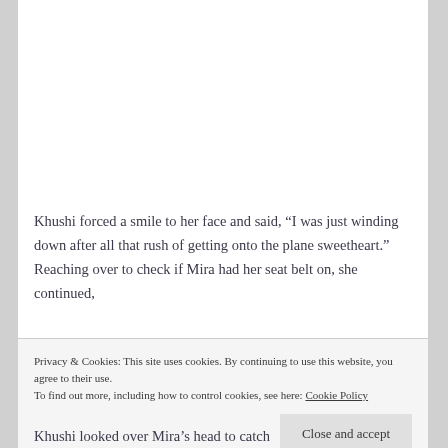Khushi forced a smile to her face and said, “I was just winding down after all that rush of getting onto the plane sweetheart.” Reaching over to check if Mira had her seat belt on, she continued,
Privacy & Cookies: This site uses cookies. By continuing to use this website, you agree to their use.
To find out more, including how to control cookies, see here: Cookie Policy
Khushi looked over Mira’s head to catch